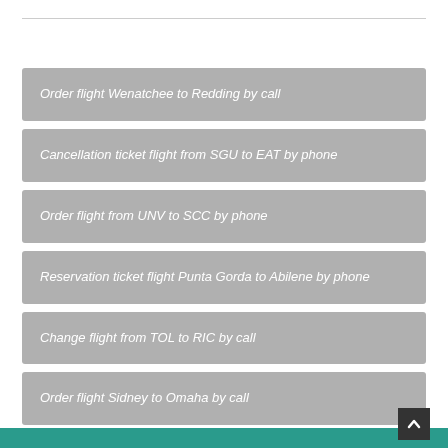Order flight Wenatchee to Redding by call
Cancellation ticket flight from SGU to EAT by phone
Order flight from UNV to SCC by phone
Reservation ticket flight Punta Gorda to Abilene by phone
Change flight from TOL to RIC by call
Order flight Sidney to Omaha by call